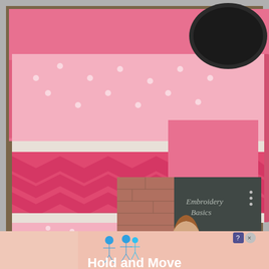[Figure (screenshot): A screenshot of a webpage showing a sewing/crafts video tutorial. The main background image shows pink polka-dot and chevron fabric items (likely potholders or pouches) on a wooden surface. Overlaid is a video player showing a woman in a blue shirt standing in front of a chalkboard that reads 'Embroidery Basics'. The video player has controls: rewind, play, and skip forward buttons. The bottom of the video shows the name 'Carolina Moore' and 'AlwaysExpectMoore.c...' At the very bottom of the screenshot is a blue advertisement banner with blue stick-figure icons and bold white text reading 'Hold and Move', with a close button (X) in the top right corner.]